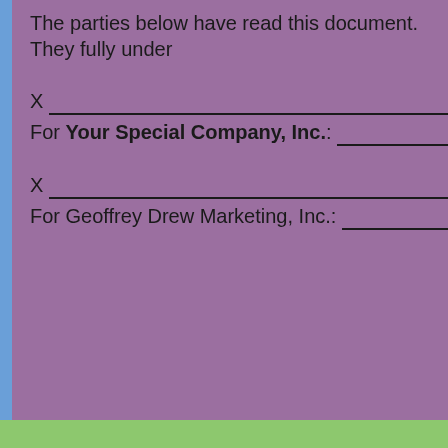The parties below have read this document. They fully under
X __________________________ Date: ______
For Your Special Company, Inc.: ________________, Pre
X __________________________ Date: ______
For Geoffrey Drew Marketing, Inc.: ________________